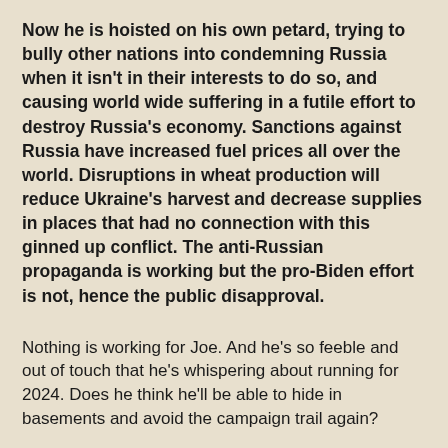Now he is hoisted on his own petard, trying to bully other nations into condemning Russia when it isn't in their interests to do so, and causing world wide suffering in a futile effort to destroy Russia's economy. Sanctions against Russia have increased fuel prices all over the world. Disruptions in wheat production will reduce Ukraine's harvest and decrease supplies in places that had no connection with this ginned up conflict. The anti-Russian propaganda is working but the pro-Biden effort is not, hence the public disapproval.
Nothing is working for Joe.  And he's so feeble and out of touch that he's whispering about running for 2024. Does he think he'll be able to hide in basements and avoid the campaign trail again?